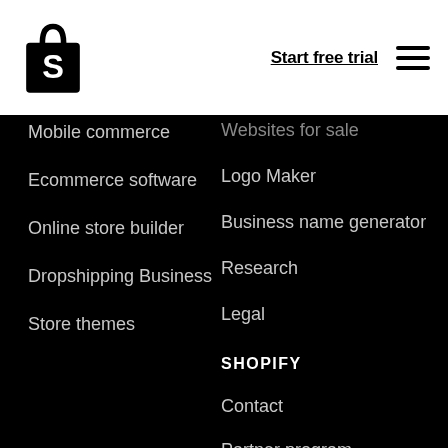Shopify — Start free trial
Mobile commerce
Ecommerce software
Online store builder
Dropshipping Business
Store themes
Websites for sale
Logo Maker
Business name generator
Research
Legal
SHOPIFY
Contact
Partner program
Affiliate program
App developers
Investors
Blog topics